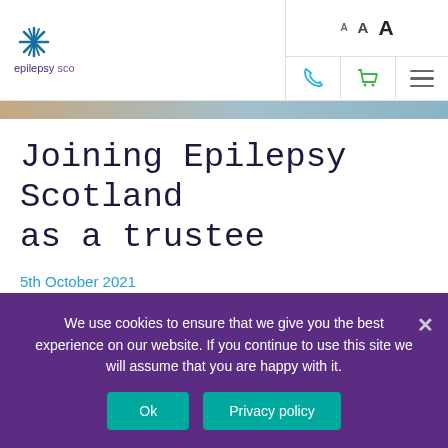[Figure (logo): Epilepsy Scotland logo with purple star/asterisk icon and text 'epilepsy scotland' in purple]
A A A [font size controls] [phone icon] [cart icon] [hamburger menu]
[Figure (photo): Partial image strip showing a blurred/cropped photo, possibly of a person outdoors]
Joining Epilepsy Scotland as a trustee
5th October 2021
By David Coates
Over the last few months, I will be talking to one of the key ...
We use cookies to ensure that we give you the best experience on our website. If you continue to use this site we will assume that you are happy with it.
Ok
Privacy policy